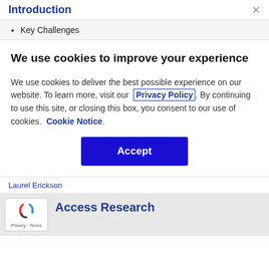Introduction
Key Challenges
We use cookies to improve your experience
We use cookies to deliver the best possible experience on our website. To learn more, visit our Privacy Policy. By continuing to use this site, or closing this box, you consent to our use of cookies. Cookie Notice.
Accept
Laurel Erickson
[Figure (logo): reCAPTCHA logo with Privacy and Terms text]
Access Research